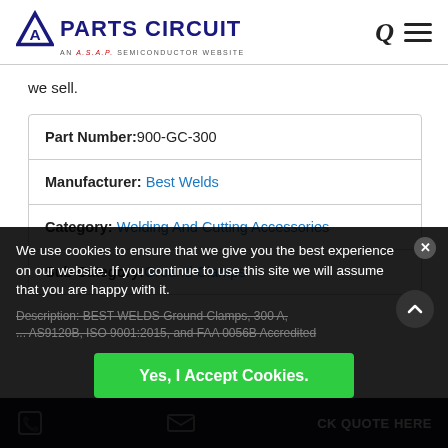[Figure (logo): Parts Circuit logo — triangle A icon with 'PARTS CIRCUIT' text and 'AN A.S.A.P. SEMICONDUCTOR WEBSITE' tagline]
we sell.
| Part Number: | 900-GC-300 |
| Manufacturer: | Best Welds |
| Category: | Welding And Cutting Accessories |
| Sub Category: | Ground Clamps |
We use cookies to ensure that we give you the best experience on our website. If you continue to use this site we will assume that you are happy with it.
Description: BEST WELDS Ground Clamps, 300 A, AS9120B, ISO 9001:2015, and FAA 0056B Accredited
Yes, I Accept Cookies.